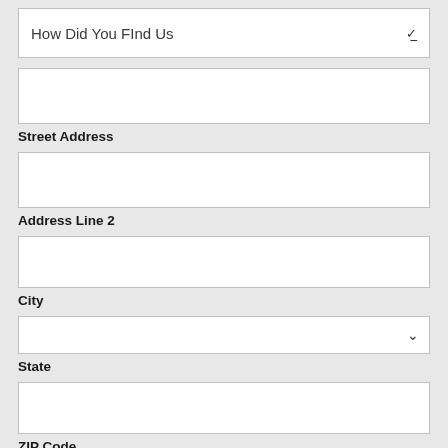How Did You Find Us
Street Address
Address Line 2
City
State
ZIP Code